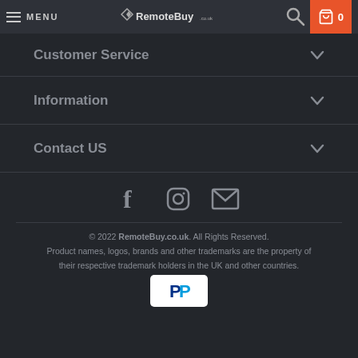MENU | RemoteBuy.co.uk | Search | Cart 0
Customer Service
Information
Contact US
[Figure (other): Social media icons: Facebook, Instagram, Email]
© 2022 RemoteBuy.co.uk. All Rights Reserved. Product names, logos, brands and other trademarks are the property of their respective trademark holders in the UK and other countries.
[Figure (logo): PayPal payment logo badge]